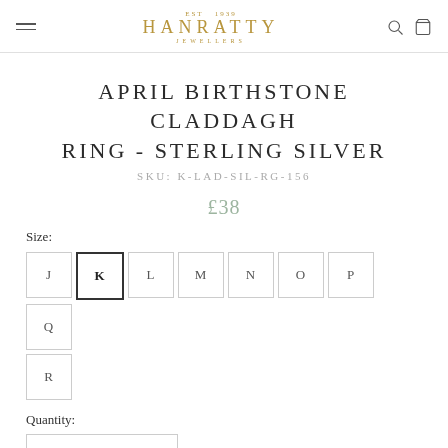HANRATTY JEWELLERS
APRIL BIRTHSTONE CLADDAGH RING - STERLING SILVER
SKU: K-LAD-SIL-RG-156
£38
Size:
J K L M N O P Q R
Quantity: